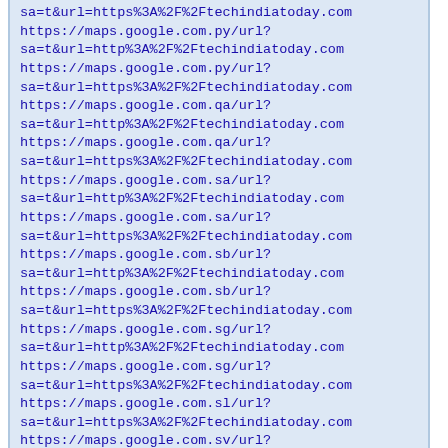sa=t&url=https%3A%2F%2Ftechindiatoday.com
https://maps.google.com.py/url?
sa=t&url=http%3A%2F%2Ftechindiatoday.com
https://maps.google.com.py/url?
sa=t&url=https%3A%2F%2Ftechindiatoday.com
https://maps.google.com.qa/url?
sa=t&url=http%3A%2F%2Ftechindiatoday.com
https://maps.google.com.qa/url?
sa=t&url=https%3A%2F%2Ftechindiatoday.com
https://maps.google.com.sa/url?
sa=t&url=http%3A%2F%2Ftechindiatoday.com
https://maps.google.com.sa/url?
sa=t&url=https%3A%2F%2Ftechindiatoday.com
https://maps.google.com.sb/url?
sa=t&url=http%3A%2F%2Ftechindiatoday.com
https://maps.google.com.sb/url?
sa=t&url=https%3A%2F%2Ftechindiatoday.com
https://maps.google.com.sg/url?
sa=t&url=http%3A%2F%2Ftechindiatoday.com
https://maps.google.com.sg/url?
sa=t&url=https%3A%2F%2Ftechindiatoday.com
https://maps.google.com.sl/url?
sa=t&url=https%3A%2F%2Ftechindiatoday.com
https://maps.google.com.sv/url?
sa=t&url=http%3A%2F%2Ftechindiatoday.com
https://maps.google.com.sv/url?
sa=t&url=https%3A%2F%2Ftechindiatoday.com
https://maps.google.com.tj/url?
sa=t&url=https%3A%2F%2Ftechindiatoday.com
https://maps.google.com.t/url?